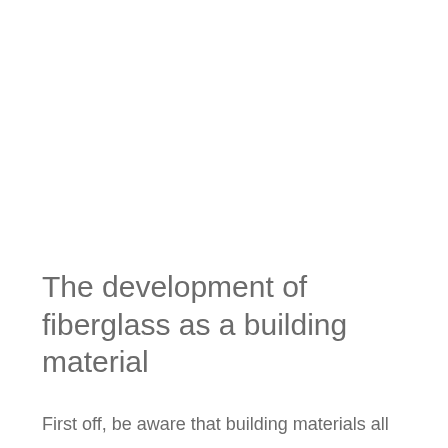The development of fiberglass as a building material
First off, be aware that building materials all have their own pros and cons. Some are more